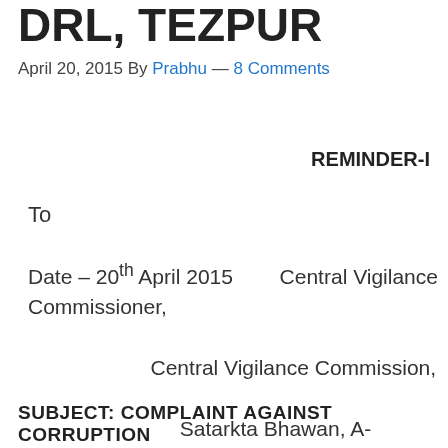DRL, TEZPUR
April 20, 2015 By Prabhu — 8 Comments
REMINDER-I
To
Date – 20th April 2015        Central Vigilance Commissioner,

                    Central Vigilance Commission,

                         Satarkta Bhawan, A-Block,GPO Complex, INA
                    New Delhi-110023
SUBJECT: COMPLAINT AGAINST CORRUPTION